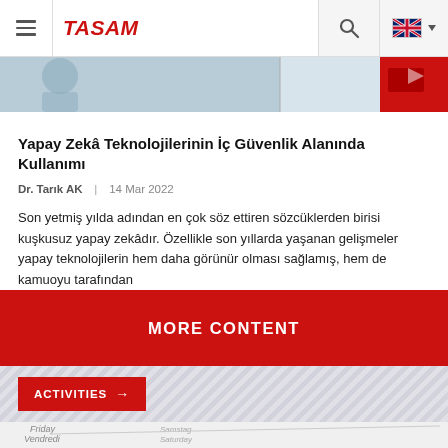TASAM — navigation bar with hamburger menu, logo, search, and language selector
[Figure (photo): Partial banner image strip showing a cropped scene with a red accent block on the right]
Yapay Zekâ Teknolojilerinin İç Güvenlik Alanında Kullanımı
Dr. Tarık AK   14 Mar 2022
Son yetmiş yılda adından en çok söz ettiren sözcüklerden birisi kuşkusuz yapay zekâdır. Özellikle son yıllarda yaşanan gelişmeler yapay teknolojilerin hem daha görünür olması sağlamış, hem de kamuoyu tarafından
MORE CONTENT
ACTIVITIES →
[Figure (photo): Close-up photo of a multilingual calendar showing days of the week: Friday/Vendredi, Samstag/Saturday/Samedi and other day names in multiple languages]